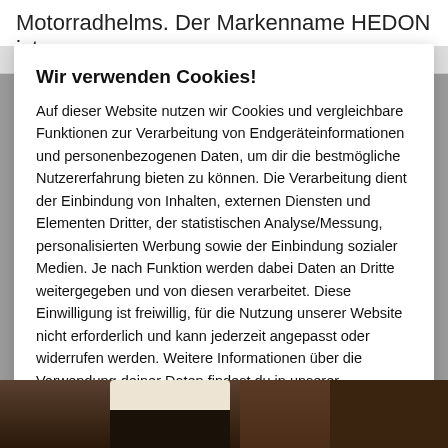Motorradhelms. Der Markenname HEDON ist
Wir verwenden Cookies!
Auf dieser Website nutzen wir Cookies und vergleichbare Funktionen zur Verarbeitung von Endgeräteinformationen und personenbezogenen Daten, um dir die bestmögliche Nutzererfahrung bieten zu können. Die Verarbeitung dient der Einbindung von Inhalten, externen Diensten und Elementen Dritter, der statistischen Analyse/Messung, personalisierten Werbung sowie der Einbindung sozialer Medien. Je nach Funktion werden dabei Daten an Dritte weitergegeben und von diesen verarbeitet. Diese Einwilligung ist freiwillig, für die Nutzung unserer Website nicht erforderlich und kann jederzeit angepasst oder widerrufen werden. Weitere Informationen über die Verwendung deiner Daten findest du in unserer Datenschutzerklärung.
Enstellungen oder ablehnen
Alle akzeptieren
[Figure (photo): Bottom strip showing partial view of a person wearing what appears to be a motorcycle helmet or dark clothing, brown/tan background visible]